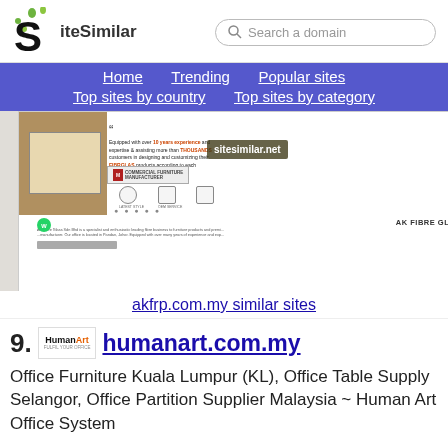SiteSimilar — Search a domain
Home
Trending
Popular sites
Top sites by country
Top sites by category
[Figure (screenshot): Screenshot of akfrp.com.my website showing a commercial furniture manufacturer page with a banner, quote, product images, and social sharing buttons. Watermark reads sitesimilar.net]
akfrp.com.my similar sites
9.
humanart.com.my
Office Furniture Kuala Lumpur (KL), Office Table Supply Selangor, Office Partition Supplier Malaysia ~ Human Art Office System